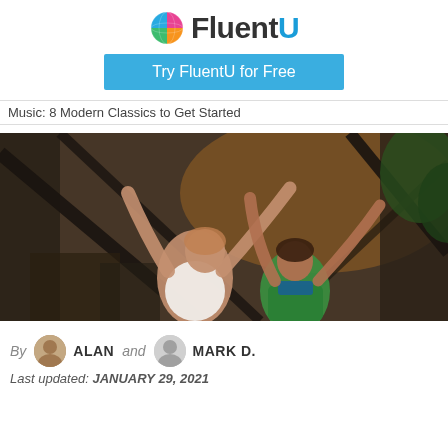FluentU
Try FluentU for Free
Music: 8 Modern Classics to Get Started
[Figure (photo): Two people with arms raised in celebration on a rooftop or elevated structure with a city in the background, shot with a wide-angle lens.]
By ALAN and MARK D.
Last updated: JANUARY 29, 2021